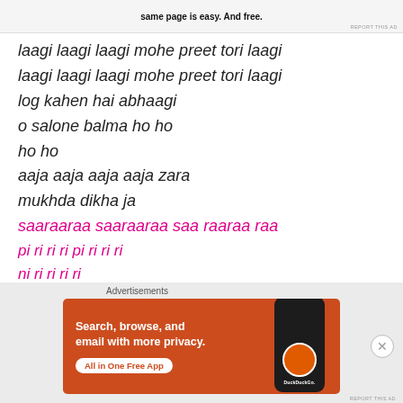[Figure (screenshot): Top advertisement banner with bold text 'same page is easy. And free.']
laagi laagi laagi mohe preet tori laagi
laagi laagi laagi mohe preet tori laagi
log kahen hai abhaagi
o salone balma ho ho
ho ho
aaja aaja aaja aaja zara
mukhda dikha ja
saaraaraa saaraaraa saa raaraa raa
pi ri ri ri pi ri ri ri
ni ri ri ri ri
Advertisements
[Figure (screenshot): DuckDuckGo advertisement: 'Search, browse, and email with more privacy. All in One Free App' with phone image and DuckDuckGo logo on orange/red background.]